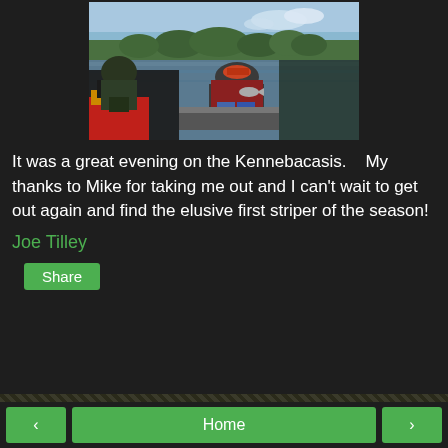[Figure (photo): Two people on a fishing boat on a river or lake, with trees visible in the background. One person appears to be holding a fish. The image has a wide-angle/fisheye perspective.]
It was a great evening on the Kennebacasis.    My thanks to Mike for taking me out and I can't wait to get out again and find the elusive first striper of the season!
Joe Tilley
Share
‹   Home   ›